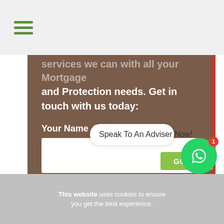☰ (hamburger menu icon)
services we can with all your Mortgage and Protection needs. Get in touch with us today:
Your Name  *
Phone  *
Speak To An Adviser Now!
This website uses cookies to ensure you get the best experience.